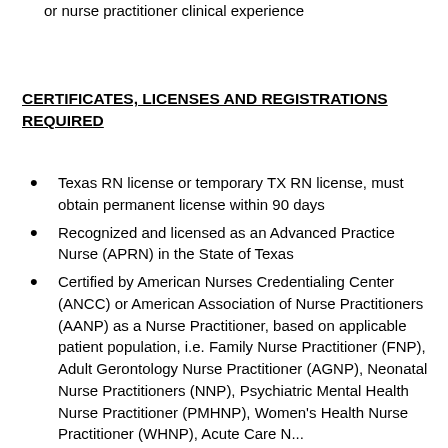or nurse practitioner clinical experience
CERTIFICATES, LICENSES AND REGISTRATIONS REQUIRED
Texas RN license or temporary TX RN license, must obtain permanent license within 90 days
Recognized and licensed as an Advanced Practice Nurse (APRN) in the State of Texas
Certified by American Nurses Credentialing Center (ANCC) or American Association of Nurse Practitioners (AANP) as a Nurse Practitioner, based on applicable patient population, i.e. Family Nurse Practitioner (FNP), Adult Gerontology Nurse Practitioner (AGNP), Neonatal Nurse Practitioners (NNP), Psychiatric Mental Health Nurse Practitioner (PMHNP), Women's Health Nurse Practitioner (WHNP), Acute Care N...